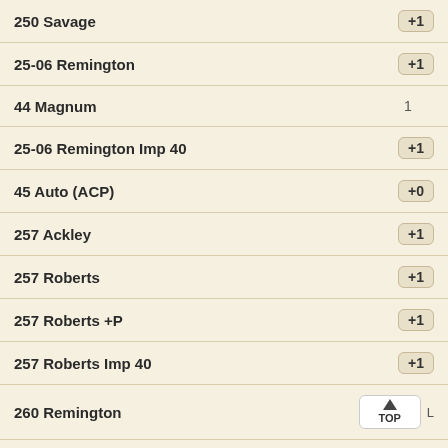250 Savage +1
25-06 Remington +1
44 Magnum 1
25-06 Remington Imp 40 +1
45 Auto (ACP) +0
257 Ackley +1
257 Roberts +1
257 Roberts +P +1
257 Roberts Imp 40 +1
260 Remington L TOP
6.5 mm BR (Benchrest) +1